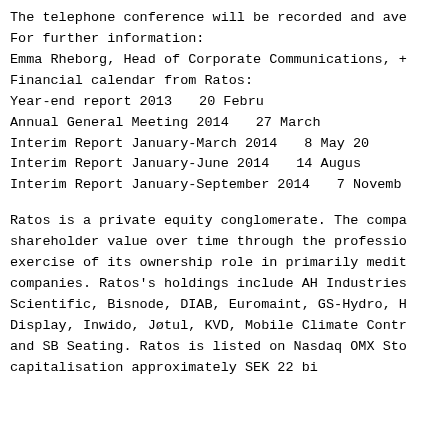The telephone conference will be recorded and ava
For further information:
Emma Rheborg, Head of Corporate Communications, +
Financial calendar from Ratos:
Year-end report 2013                              20 Febru
Annual General Meeting 2014                       27 March
Interim Report January-March 2014                 8 May 20
Interim Report January-June 2014                  14 August
Interim Report January-September 2014             7 Novemb
Ratos is a private equity conglomerate. The compa shareholder value over time through the professio exercise of its ownership role in primarily medi companies. Ratos's holdings include AH Industries Scientific, Bisnode, DIAB, Euromaint, GS-Hydro, H Display, Inwido, Jøtul, KVD, Mobile Climate Contr and SB Seating. Ratos is listed on Nasdaq OMX Sto capitalisation approximately SEK 22 bi